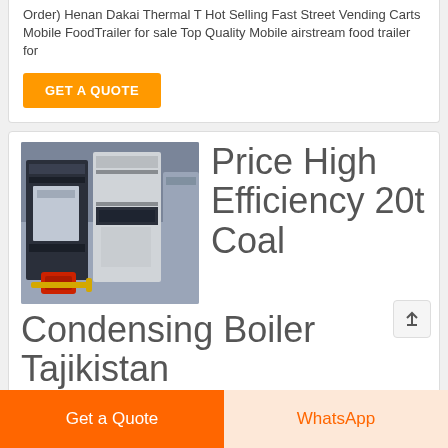Order) Henan Dakai Thermal T Hot Selling Fast Street Vending Carts Mobile FoodTrailer for sale Top Quality Mobile airstream food trailer for
GET A QUOTE
[Figure (photo): Industrial condensing boiler equipment in a warehouse setting, showing large dark and light grey metal units with a red component visible at the base]
Price High Efficiency 20t Coal Condensing Boiler Tajikistan
Get a Quote
WhatsApp